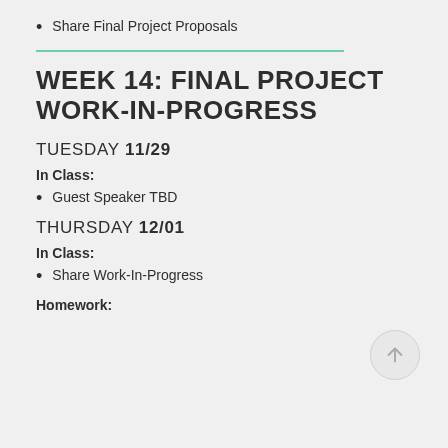Share Final Project Proposals
WEEK 14: FINAL PROJECT WORK-IN-PROGRESS
TUESDAY 11/29
In Class:
Guest Speaker TBD
THURSDAY 12/01
In Class:
Share Work-In-Progress
Homework: